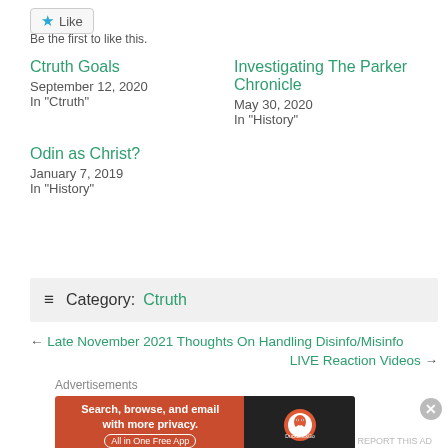[Figure (other): Like button with blue star icon]
Be the first to like this.
Ctruth Goals
September 12, 2020
In "Ctruth"
Investigating The Parker Chronicle
May 30, 2020
In "History"
Odin as Christ?
January 7, 2019
In "History"
≡ Category: Ctruth
← Late November 2021 Thoughts On Handling Disinfo/Misinfo
LIVE Reaction Videos →
Advertisements
[Figure (other): DuckDuckGo advertisement banner: Search, browse, and email with more privacy. All in One Free App]